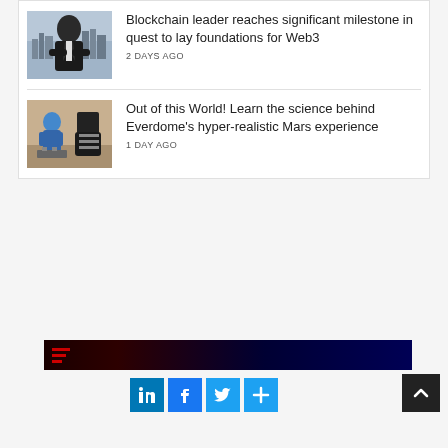[Figure (photo): Man in dark suit with arms crossed, city aerial view background - news article thumbnail]
Blockchain leader reaches significant milestone in quest to lay foundations for Web3
2 DAYS AGO
[Figure (photo): Robotic/astronaut figures on Mars-like terrain - news article thumbnail]
Out of this World! Learn the science behind Everdome's hyper-realistic Mars experience
1 DAY AGO
[Figure (photo): Dark banner image with red horizontal lines logo]
[Figure (infographic): Social media share buttons: LinkedIn, Facebook, Twitter, More]